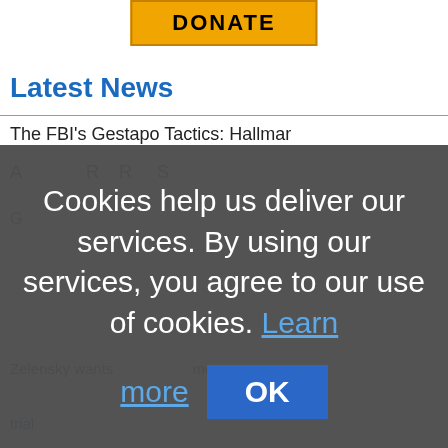[Figure (screenshot): Partial website screenshot showing a yellow DONATE button at top center, partially cropped]
Latest News
The FBI's Gestapo Tactics: Hallmar
Cookies help us deliver our services. By using our services, you agree to our use of cookies. Learn more
[Figure (screenshot): OK button in blue rectangle within cookie consent overlay]